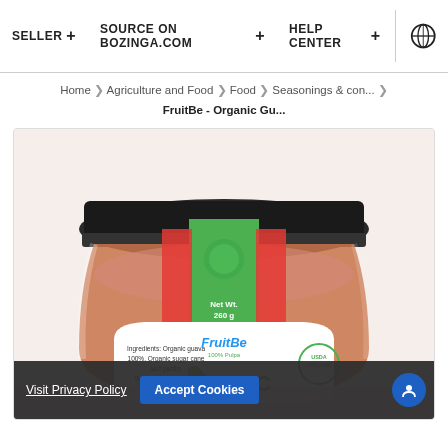SELLER +   SOURCE ON BOZINGA.COM +   HELP CENTER +
Home > Agriculture and Food > Food > Seasonings & con... > FruitBe - Organic Gu...
[Figure (photo): A glass jar of FruitBe Organic Guava jam/preserve with a green label showing 'ORGANIC' text, USDA Organic certification, Net Wt. 260g, and ingredients listing organic guava, organic sugar cane and pectin. Without colorants and preservatives. FruitBe 100% Pulpa branding visible.]
Visit Privacy Policy   Accept Cookies